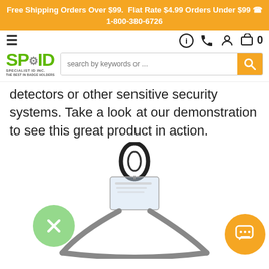Free Shipping Orders Over $99. Flat Rate $4.99 Orders Under $99 ☎ 1-800-380-6726
[Figure (screenshot): Navigation bar with hamburger menu on left, info/phone/account/cart icons on right, SP.ID Specialist ID Inc. logo and search bar below]
detectors or other sensitive security systems. Take a look at our demonstration to see this great product in action.
[Figure (photo): Product photo showing a lanyard clip/badge holder with metal loop on a white background, with green close button overlay on left and orange chat button on right]